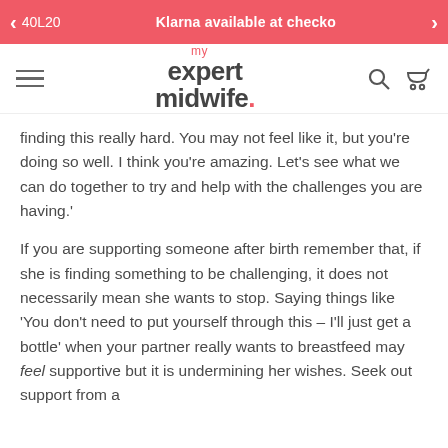40L20  Klarna available at checko
[Figure (logo): my expert midwife. logo with hamburger menu and icons]
finding this really hard. You may not feel like it, but you're doing so well. I think you're amazing. Let's see what we can do together to try and help with the challenges you are having.'
If you are supporting someone after birth remember that, if she is finding something to be challenging, it does not necessarily mean she wants to stop. Saying things like 'You don't need to put yourself through this – I'll just get a bottle' when your partner really wants to breastfeed may feel supportive but it is undermining her wishes. Seek out support from a